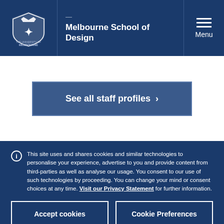Melbourne School of Design
See all staff profiles >
This site uses and shares cookies and similar technologies to personalise your experience, advertise to you and provide content from third-parties as well as analyse our usage. You consent to our use of such technologies by proceeding. You can change your mind or consent choices at any time. Visit our Privacy Statement for further information.
Accept cookies
Cookie Preferences